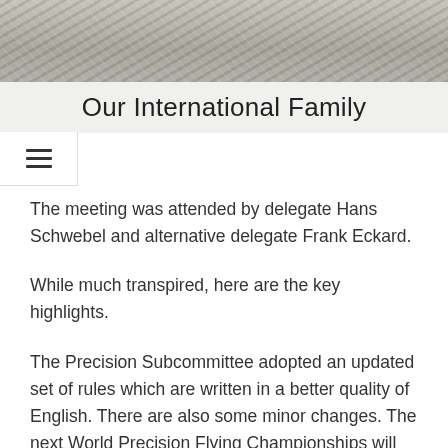[Figure (photo): Gray stone or gravel texture photo at top of page]
Our International Family
The meeting was attended by delegate Hans Schwebel and alternative delegate Frank Eckard.
While much transpired, here are the key highlights.
The Precision Subcommittee adopted an updated set of rules which are written in a better quality of English. There are also some minor changes. The next World Precision Flying Championships will take place in Spitzerberg, Austria 28 Jul to 03 Aug 2017.
The Air Navigation Race Subcommittee has also made some small adjustments to the rules. The scoring software has now been released in a PC based package rather than the previous internet base software. One of the ANR committee members, Armin Z...